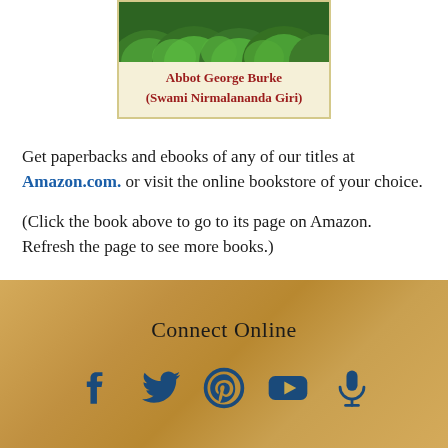[Figure (illustration): Book cover showing green leafy plant at top, with author name 'Abbot George Burke (Swami Nirmalananda Giri)' in red text on cream/yellow background with border]
Get paperbacks and ebooks of any of our titles at Amazon.com. or visit the online bookstore of your choice.
(Click the book above to go to its page on Amazon. Refresh the page to see more books.)
Connect Online
[Figure (infographic): Social media icons: Facebook, Twitter, Pinterest, YouTube, Podcast/microphone — all in dark blue on gold/tan textured background]